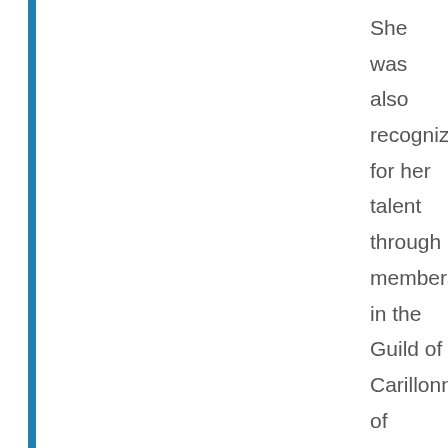She was also recognized for her talent through membership in the Guild of Carillonneurs of North America. After pursuing